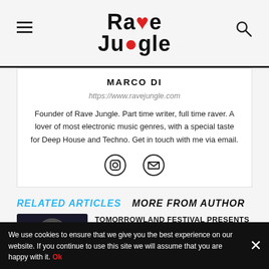Rave Jungle
MARCO DI
https://www.ravejungle.com
Founder of Rave Jungle. Part time writer, full time raver. A lover of most electronic music genres, with a special taste for Deep House and Techno. Get in touch with me via email.
RELATED ARTICLES   MORE FROM AUTHOR
TOMORROWLAND FESTIVAL PRESENTS ERIC PRYDZ HOLD AT AMSTERDAM DANCE EVENT – ADE 2022
We use cookies to ensure that we give you the best experience on our website. If you continue to use this site we will assume that you are happy with it. Ok